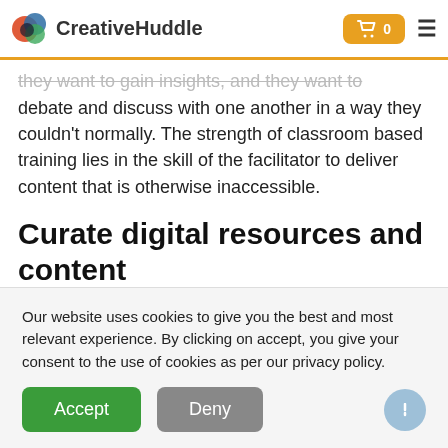CreativeHuddle
they want to gain insights, and they want to debate and discuss with one another in a way they couldn't normally. The strength of classroom based training lies in the skill of the facilitator to deliver content that is otherwise inaccessible.
Curate digital resources and content
Most of you will be used to using an on-demand service like Netflix or Lynda.com or something like
Our website uses cookies to give you the best and most relevant experience. By clicking on accept, you give your consent to the use of cookies as per our privacy policy.